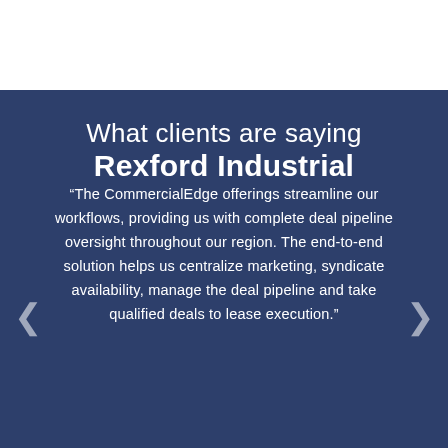What clients are saying
Rexford Industrial
“The CommercialEdge offerings streamline our workflows, providing us with complete deal pipeline oversight throughout our region. The end-to-end solution helps us centralize marketing, syndicate availability, manage the deal pipeline and take qualified deals to lease execution.”